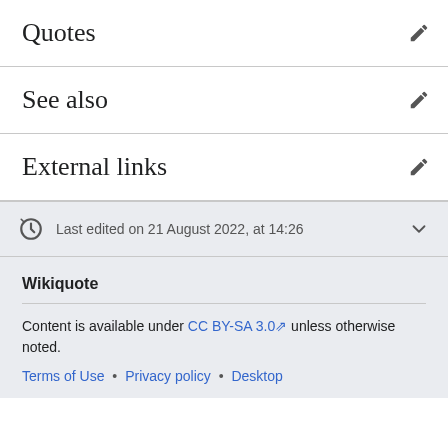Quotes
See also
External links
Last edited on 21 August 2022, at 14:26
Wikiquote
Content is available under CC BY-SA 3.0 unless otherwise noted.
Terms of Use • Privacy policy • Desktop